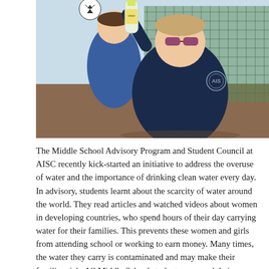[Figure (photo): Two children in school uniforms outdoors. A girl in the foreground wearing sunglasses and a navy blue zip-up sweatshirt holds up a plastic water bottle. A boy in the background wears a blue puffer jacket and holds a soccer ball. They appear to be on a sports field with green netting/fencing behind them.]
The Middle School Advisory Program and Student Council at AISC recently kick-started an initiative to address the overuse of water and the importance of drinking clean water every day. In advisory, students learnt about the scarcity of water around the world. They read articles and watched videos about women in developing countries, who spend hours of their day carrying water for their families. This prevents these women and girls from attending school or working to earn money. Many times, the water they carry is contaminated and may make their families sick. All Middle School students surveyed their